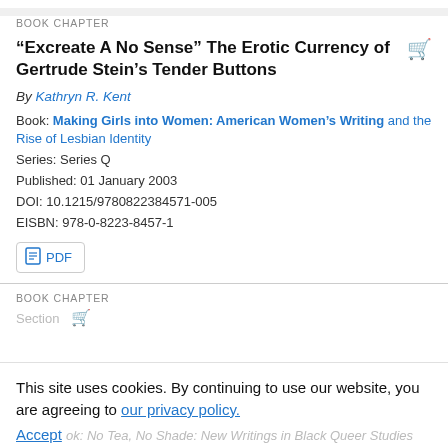BOOK CHAPTER
“Excreate A No Sense” The Erotic Currency of Gertrude Stein’s Tender Buttons
By Kathryn R. Kent
Book: Making Girls into Women: American Women’s Writing and the Rise of Lesbian Identity
Series: Series Q
Published: 01 January 2003
DOI: 10.1215/9780822384571-005
EISBN: 978-0-8223-8457-1
PDF
BOOK CHAPTER
This site uses cookies. By continuing to use our website, you are agreeing to our privacy policy. Accept